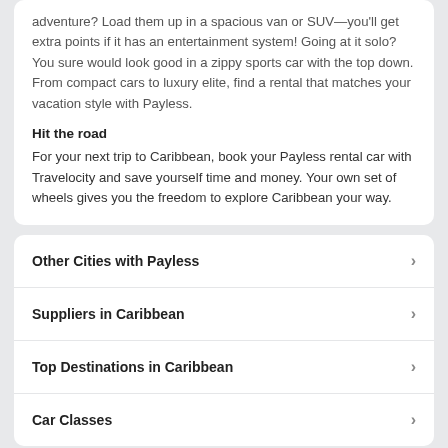adventure? Load them up in a spacious van or SUV—you'll get extra points if it has an entertainment system! Going at it solo? You sure would look good in a zippy sports car with the top down. From compact cars to luxury elite, find a rental that matches your vacation style with Payless.
Hit the road
For your next trip to Caribbean, book your Payless rental car with Travelocity and save yourself time and money. Your own set of wheels gives you the freedom to explore Caribbean your way.
Other Cities with Payless
Suppliers in Caribbean
Top Destinations in Caribbean
Car Classes